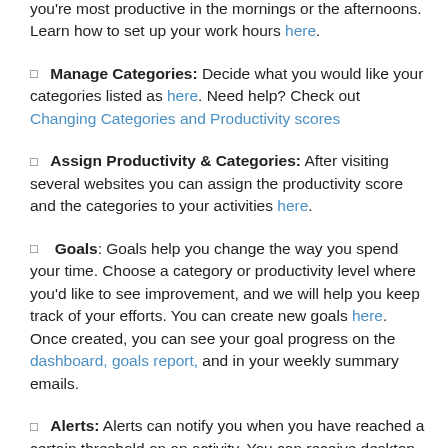you're most productive in the mornings or the afternoons. Learn how to set up your work hours here.
□ Manage Categories: Decide what you would like your categories listed as here. Need help? Check out Changing Categories and Productivity scores
□ Assign Productivity & Categories: After visiting several websites you can assign the productivity score and the categories to your activities here.
□ Goals: Goals help you change the way you spend your time. Choose a category or productivity level where you'd like to see improvement, and we will help you keep track of your efforts. You can create new goals here. Once created, you can see your goal progress on the dashboard, goals report, and in your weekly summary emails.
□ Alerts: Alerts can notify you when you have reached a certain threshold on an activity. You can receive desktop and/or email notifications alerting you when you've the point that you've assigned. You can set this to alert you when you have spent to